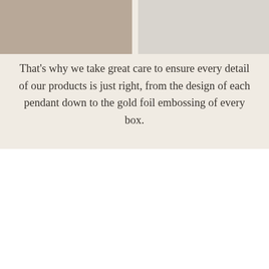[Figure (photo): Two cropped photos at top: left shows a person wearing a belt and light blue skirt outdoors; right is a light gray/neutral toned image]
That's why we take great care to ensure every detail of our products is just right, from the design of each pendant down to the gold foil embossing of every box.
AS SEEN IN
[Figure (logo): TODAY logo with rainbow arc icon in gold]
[Figure (logo): O The Oprah Magazine logo - large O with text THE OPRAH below]
[Figure (logo): BRIT+CO logo in gold bold letters]